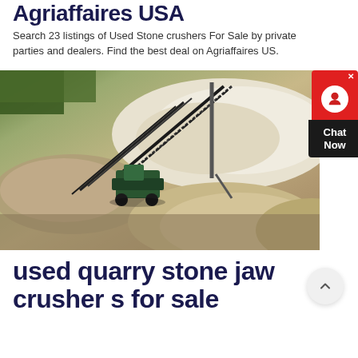Agriaffaires USA
Search 23 listings of Used Stone crushers For Sale by private parties and dealers. Find the best deal on Agriaffaires US.
[Figure (photo): Aerial/overhead photo of a stone crushing quarry operation showing conveyor belts, a green machine/loader, and large piles of crushed stone/gravel in beige and grey tones.]
used quarry stone jaw crusher s for sale